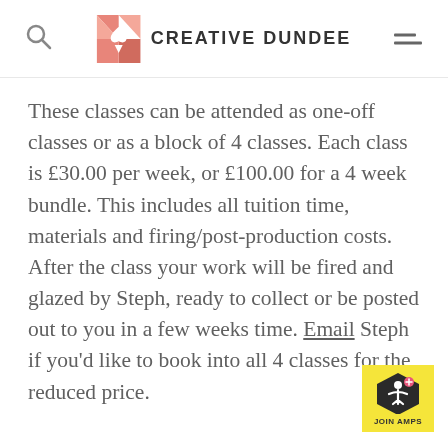CREATIVE DUNDEE
These classes can be attended as one-off classes or as a block of 4 classes. Each class is £30.00 per week, or £100.00 for a 4 week bundle. This includes all tuition time, materials and firing/post-production costs. After the class your work will be fired and glazed by Steph, ready to collect or be posted out to you in a few weeks time. Email Steph if you'd like to book into all 4 classes for the reduced price.
[Figure (logo): JOIN AMPS badge in yellow with accessibility icon in dark hexagon]